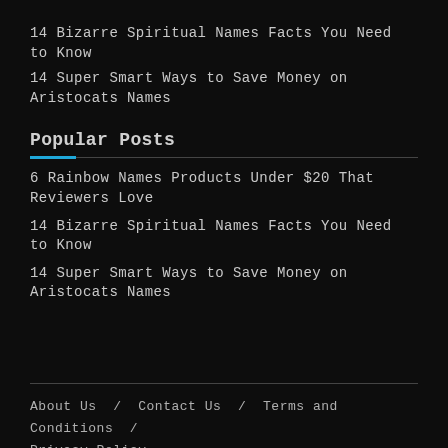14 Bizarre Spiritual Names Facts You Need to Know
14 Super Smart Ways to Save Money on Aristocats Names
Popular Posts
6 Rainbow Names Products Under $20 That Reviewers Love
14 Bizarre Spiritual Names Facts You Need to Know
14 Super Smart Ways to Save Money on Aristocats Names
About Us  /  Contact Us  /  Terms and Conditions  /  Privacy Policy
© 2021 – All Rights Reserved. Kloud-nine.